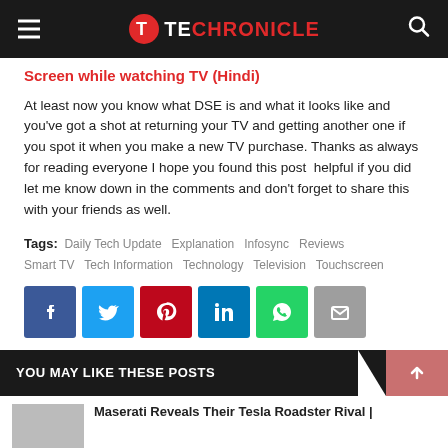TECHRONICLE
Screen while watching TV (Hindi)
At least now you know what DSE is and what it looks like and you've got a shot at returning your TV and getting another one if you spot it when you make a new TV purchase. Thanks as always for reading everyone I hope you found this post helpful if you did let me know down in the comments and don't forget to share this with your friends as well.
Tags: Daily Tech Update  Explanation  Infosync  Reviews  Smart TV  Tech Information  Technology  Television  Touchscreen
[Figure (infographic): Social share buttons: Facebook, Twitter, Pinterest, LinkedIn, WhatsApp, Email]
YOU MAY LIKE THESE POSTS
Maserati Reveals Their Tesla Roadster Rival |